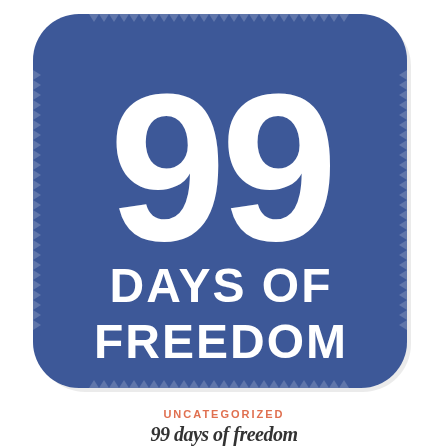[Figure (infographic): A large rounded-square badge with a blue background (medium-dark blue, #3d5a9e), decorated around its border with small triangular notch cutouts forming a ticket/stamp effect. Inside the badge, in large bold white text: '99' on top, then 'DAYS OF' and 'FREEDOM' below in bold white uppercase text.]
UNCATEGORIZED
99 days of freedom